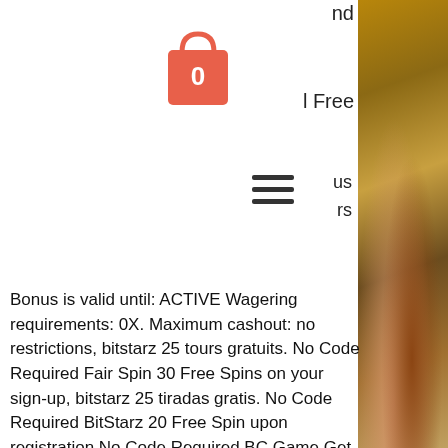nd
[Figure (illustration): Shopping bag icon with coral/salmon color and the number 0 inside in white]
l Free
[Figure (illustration): Hamburger/menu icon with three horizontal lines]
us
rs
Bonus is valid until: ACTIVE Wagering requirements: 0X. Maximum cashout: no restrictions, bitstarz 25 tours gratuits. No Code Required Fair Spin 30 Free Spins on your sign-up, bitstarz 25 tiradas gratis. No Code Required BitStarz 20 Free Spin upon registration No Code Required BC Game Get one daily Free Spin and up to 1 BTC upon registration No Code Required Casino GrandBay Up to $65 upon registration 65FBONUS mBit Casino 50 No deposit free spins upon verifying your phone number No Code Required. Once your Bitcoin deposit clears, the house will match it by 200% for both the casino. So, if you deposit $1,000, you'll receive a $2,000 bonus for the casino.
[Figure (photo): Close-up photo of food, appears to be a sandwich or bread with meat and vegetables, warm tones, blurred background with bokeh light effects]